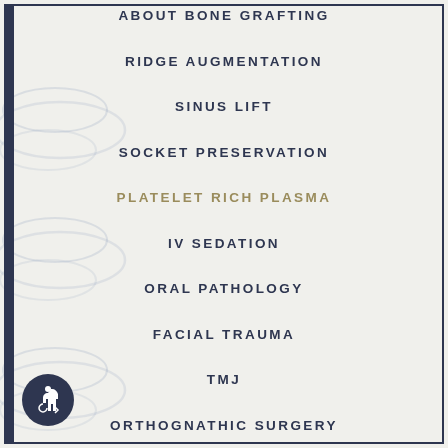ABOUT BONE GRAFTING
RIDGE AUGMENTATION
SINUS LIFT
SOCKET PRESERVATION
PLATELET RICH PLASMA
IV SEDATION
ORAL PATHOLOGY
FACIAL TRAUMA
TMJ
ORTHOGNATHIC SURGERY
[Figure (illustration): Wheelchair accessibility icon in dark circle at bottom left]